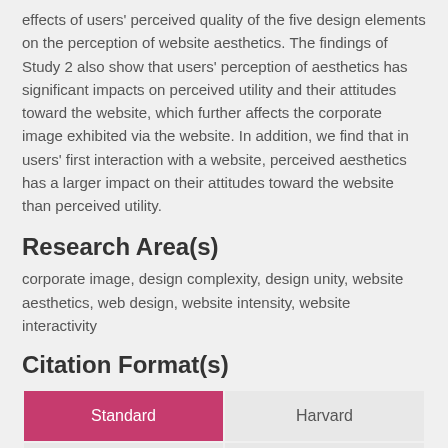effects of users' perceived quality of the five design elements on the perception of website aesthetics. The findings of Study 2 also show that users' perception of aesthetics has significant impacts on perceived utility and their attitudes toward the website, which further affects the corporate image exhibited via the website. In addition, we find that in users' first interaction with a website, perceived aesthetics has a larger impact on their attitudes toward the website than perceived utility.
Research Area(s)
corporate image, design complexity, design unity, website aesthetics, web design, website intensity, website interactivity
Citation Format(s)
| Standard | Harvard |
| --- | --- |
| APA | Vancouver |